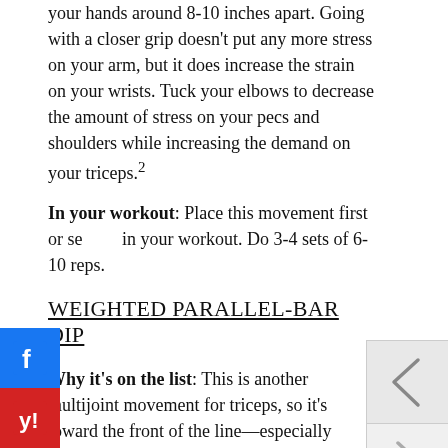To really torch your triceps, use a close grip, but keep your hands around 8-10 inches apart. Going with a closer grip doesn't put any more stress on your arm, but it does increase the strain on your wrists. Tuck your elbows to decrease the amount of stress on your pecs and shoulders while increasing the demand on your triceps.2
In your workout: Place this movement first or second in your workout. Do 3-4 sets of 6-10 reps.
WEIGHTED PARALLEL-BAR DIP
Why it's on the list: This is another multijoint movement for triceps, so it's toward the front of the line—especially weighted, which makes it more ideal than bodyweight dips for building mass. Attaching a belt around your waist with plates can increase the resistance so you fail within the target rep range of 8-12, ideal for muscle growth.
[Figure (other): Navigation arrows (left/back and right/forward) for a slideshow or carousel interface]
[Figure (logo): Facebook and Yelp social media icons in the bottom-left corner]